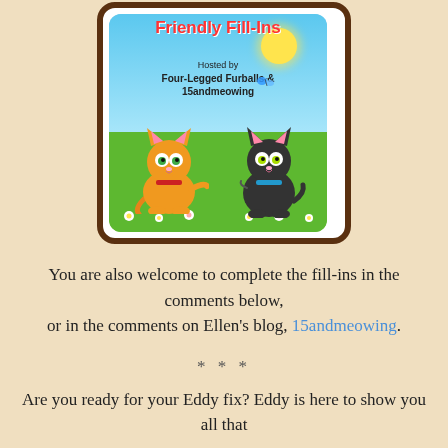[Figure (illustration): Friendly Fill-Ins badge: cartoon image with two cats (one orange, one black) sitting on green grass under a blue sky with sun, title 'Friendly Fill-Ins' in red, hosted by Four-Legged Furballs & 15andmeowing, with a blue butterfly]
You are also welcome to complete the fill-ins in the comments below, or in the comments on Ellen's blog, 15andmeowing.
***
Are you ready for your Eddy fix? Eddy is here to show you all that